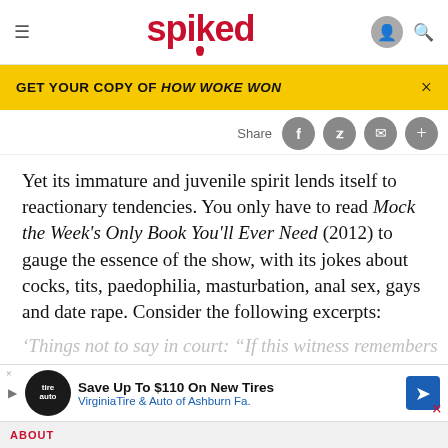spiked
GET YOUR COPY OF HOW WOKE WON
[Figure (screenshot): Share buttons: Facebook, Twitter, Email, More]
Yet its immature and juvenile spirit lends itself to reactionary tendencies. You only have to read Mock the Week's Only Book You'll Ever Need (2012) to gauge the essence of the show, with its jokes about cocks, tits, paedophilia, masturbation, anal sex, gays and date rape. Consider the following excerpts:
'Things not to say in court: "If this witness remembers anything…'
[Figure (screenshot): Advertisement: Save Up To $110 On New Tires — VirginiaTire & Auto of Ashburn Fa.]
ABOUT